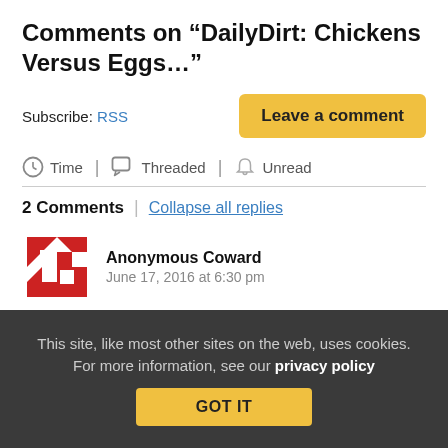Comments on “DailyDirt: Chickens Versus Eggs…”
Subscribe: RSS
Leave a comment
Time | Threaded | Unread
2 Comments | Collapse all replies
Anonymous Coward   June 17, 2016 at 6:30 pm
This site, like most other sites on the web, uses cookies. For more information, see our privacy policy
GOT IT